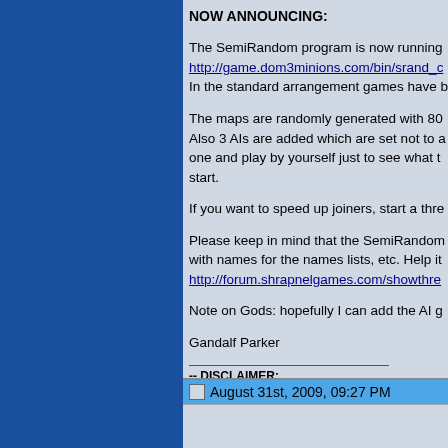NOW ANNOUNCING:
The SemiRandom program is now running http://game.dom3minions.com/bin/srand_c In the standard arrangement games have b
The maps are randomly generated with 80 Also 3 AIs are added which are set not to a one and play by yourself just to see what t start.
If you want to speed up joiners, start a thre
Please keep in mind that the SemiRandom with names for the names lists, etc. Help it http://forum.shrapnelgames.com/showthre
Note on Gods: hopefully I can add the AI g
Gandalf Parker
-- DISCLAIMER: This game is NOT suitable for students, interns, apprenti heavy machinery. Before beginning this game make arra straight then you should consult a physician immediately
August 31st, 2009, 09:27 PM